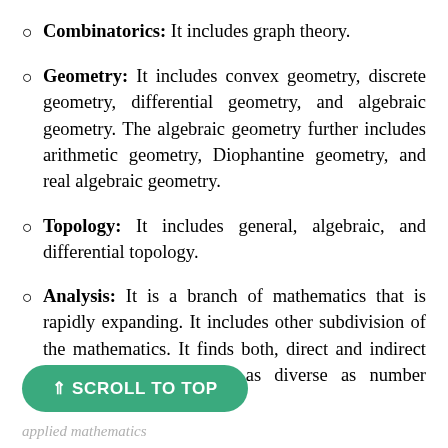Combinatorics: It includes graph theory.
Geometry: It includes convex geometry, discrete geometry, differential geometry, and algebraic geometry. The algebraic geometry further includes arithmetic geometry, Diophantine geometry, and real algebraic geometry.
Topology: It includes general, algebraic, and differential topology.
Analysis: It is a branch of mathematics that is rapidly expanding. It includes other subdivision of the mathematics. It finds both, direct and indirect applications in subjects as diverse as number theory, cryptography, and
⇑ SCROLL TO TOP
applied mathematics